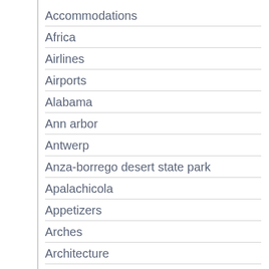Accommodations
Africa
Airlines
Airports
Alabama
Ann arbor
Antwerp
Anza-borrego desert state park
Apalachicola
Appetizers
Arches
Architecture
Arizona